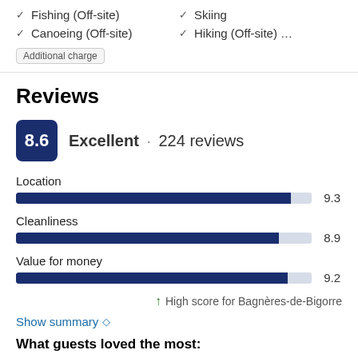Fishing (Off-site)
Skiing
Canoeing (Off-site)
Hiking (Off-site) …
Additional charge
Reviews
8.6  Excellent · 224 reviews
[Figure (bar-chart): Review scores]
↑ High score for Bagnères-de-Bigorre
Show summary ◇
What guests loved the most: